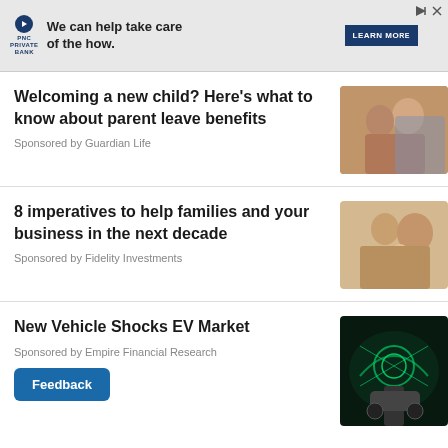[Figure (other): PNC Private Bank advertisement banner with logo, tagline 'We can help take care of the how.' and Learn More button]
Welcoming a new child? Here's what to know about parent leave benefits
Sponsored by Guardian Life
[Figure (photo): Couple smiling together, family photo]
8 imperatives to help families and your business in the next decade
Sponsored by Fidelity Investments
[Figure (photo): Multi-generational family with baby]
New Vehicle Shocks EV Market
Sponsored by Empire Financial Research
[Figure (photo): Electric vehicle charging with glowing green effects]
Feedback